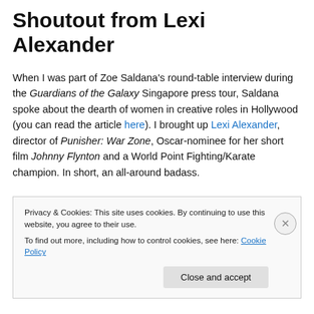Shoutout from Lexi Alexander
When I was part of Zoe Saldana's round-table interview during the Guardians of the Galaxy Singapore press tour, Saldana spoke about the dearth of women in creative roles in Hollywood (you can read the article here). I brought up Lexi Alexander, director of Punisher: War Zone, Oscar-nominee for her short film Johnny Flynton and a World Point Fighting/Karate champion. In short, an all-around badass.
Privacy & Cookies: This site uses cookies. By continuing to use this website, you agree to their use.
To find out more, including how to control cookies, see here: Cookie Policy